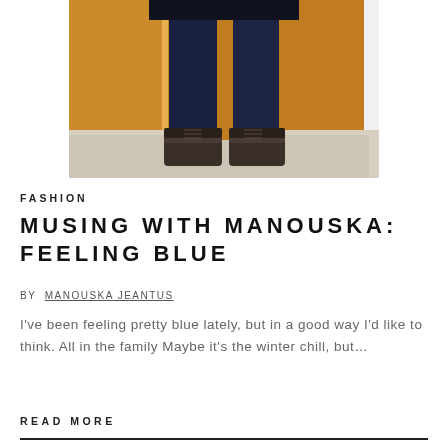[Figure (photo): Lower body of a person wearing dark navy jeans and dark brown lace-up boots, standing in front of orange closet/wardrobe doors on a light carpet floor.]
FASHION
MUSING WITH MANOUSKA: FEELING BLUE
BY MANOUSKA JEANTUS
I've been feeling pretty blue lately, but in a good way I'd like to think. All in the family Maybe it's the winter chill, but…
READ MORE